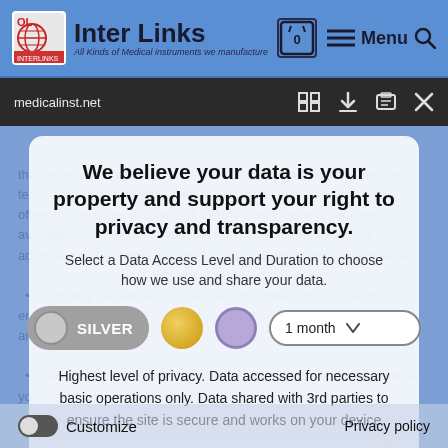Inter Links — All Kinds of Medical Instruments we manufacture
medicalinst.net
We believe your data is your property and support your right to privacy and transparency.
Select a Data Access Level and Duration to choose how we use and share your data.
SILVER | 1 month
Highest level of privacy. Data accessed for necessary basic operations only. Data shared with 3rd parties to ensure the site is secure and works on your device
Save my preferences
Customize
Privacy policy